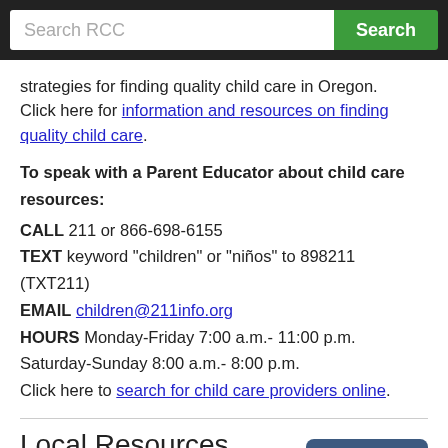Search RCC
strategies for finding quality child care in Oregon. Click here for information and resources on finding quality child care.
To speak with a Parent Educator about child care resources:
CALL 211 or 866-698-6155
TEXT keyword "children" or "niños" to 898211 (TXT211)
EMAIL children@211info.org
HOURS Monday-Friday 7:00 a.m.- 11:00 p.m.
Saturday-Sunday 8:00 a.m.- 8:00 p.m.
Click here to search for child care providers online.
Local Resources
Jackson County Child Care Centers
Josephine County Child Care Centers